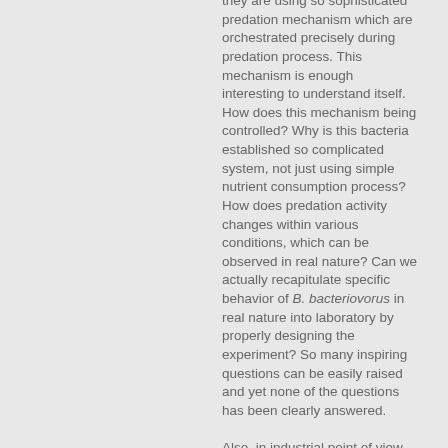they are using so sophisticated predation mechanism which are orchestrated precisely during predation process. This mechanism is enough interesting to understand itself. How does this mechanism being controlled? Why is this bacteria established so complicated system, not just using simple nutrient consumption process? How does predation activity changes within various conditions, which can be observed in real nature? Can we actually recapitulate specific behavior of B. bacteriovorus in real nature into laboratory by properly designing the experiment? So many inspiring questions can be easily raised and yet none of the questions has been clearly answered.
Also, in industrial point of view, B.